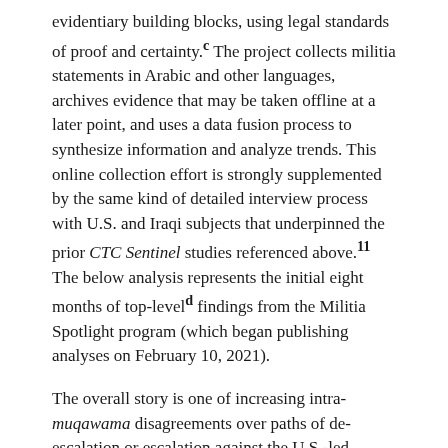evidentiary building blocks, using legal standards of proof and certainty.c The project collects militia statements in Arabic and other languages, archives evidence that may be taken offline at a later point, and uses a data fusion process to synthesize information and analyze trends. This online collection effort is strongly supplemented by the same kind of detailed interview process with U.S. and Iraqi subjects that underpinned the prior CTC Sentinel studies referenced above.11  The below analysis represents the initial eight months of top-level d findings from the Militia Spotlight program (which began publishing analyses on February 10, 2021).
The overall story is one of increasing intra-muqawama disagreements over paths of de-escalation or escalation against the U.S.-led coalition, and of competition between the armed groups or fasa'il. As anticipated in the October 2020 CTC Sentinel analysis,12 the post-Soleimani and post-Muhandis KH has suffered significant ruptures in its leadership and perhaps in the degree to which that